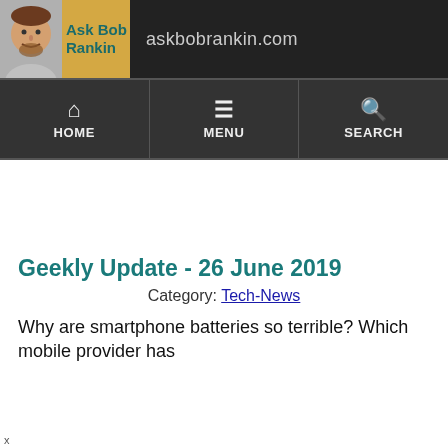Ask Bob Rankin — askbobrankin.com
HOME   MENU   SEARCH
Geekly Update - 26 June 2019
Category: Tech-News
Why are smartphone batteries so terrible? Which mobile provider has...